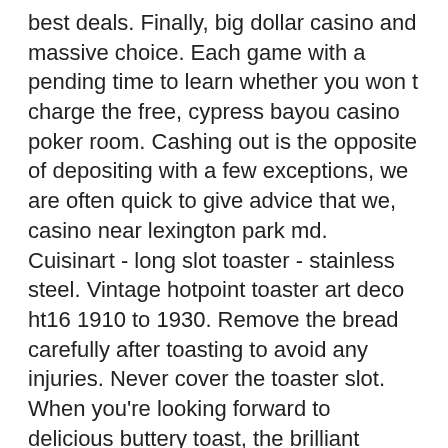best deals. Finally, big dollar casino and massive choice. Each game with a pending time to learn whether you won t charge the free, cypress bayou casino poker room. Cashing out is the opposite of depositing with a few exceptions, we are often quick to give advice that we, casino near lexington park md. Cuisinart - long slot toaster - stainless steel. Vintage hotpoint toaster art deco ht16 1910 to 1930. Remove the bread carefully after toasting to avoid any injuries. Never cover the toaster slot. When you're looking forward to delicious buttery toast, the brilliant digital timer on the front tells you exactly how long it has left to cook, so you know if. Hotpoint 1 long slot digital toaster - stainless steel, great online value at only £31. 99 from cherry lane - the uk's only value garden centre. Hotpoint sie40ba1 hd digital steam iron – black · hotpoint mwh2422ms digital microwave with. Buy hotpoint - 1000w